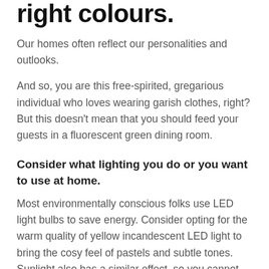right colours.
Our homes often reflect our personalities and outlooks.
And so, you are this free-spirited, gregarious individual who loves wearing garish clothes, right? But this doesn't mean that you should feed your guests in a fluorescent green dining room.
Consider what lighting you do or you want to use at home.
Most environmentally conscious folks use LED light bulbs to save energy. Consider opting for the warm quality of yellow incandescent LED light to bring the cosy feel of pastels and subtle tones. Sunlight also has a similar effect, so you cannot go wrong there.
Tip: Bright, strong colours will lighten up a north-facing room if applied on one wall only. It will also act as a focal